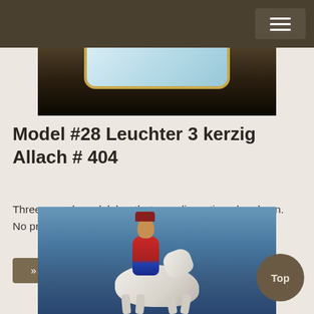Navigation bar
[Figure (photo): Top portion of a photograph showing what appears to be a candelabra or porcelain piece with gold trim against a dark background]
Model #28 Leuchter 3 kerzig Allach # 404
Three armed candelabra that was discontinued early on. No production for 1938/39. This piece has a.....
» More
[Figure (photo): Photograph of a porcelain figurine depicting a soldier or hussar in a red and blue uniform riding a white horse]